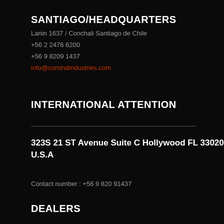SANTIAGO/HEADQUARTERS
Lanin 1637 / Conchali Santiago de Chile
+56 2 2476 6200
+56 9 8209 1437
info@comindindustries.com
INTERNATIONAL ATTENTION
323S 21 ST Avenue Suite C Hollywood FL 33020 U.S.A
Contact number : +56 9 820 91437
DEALERS